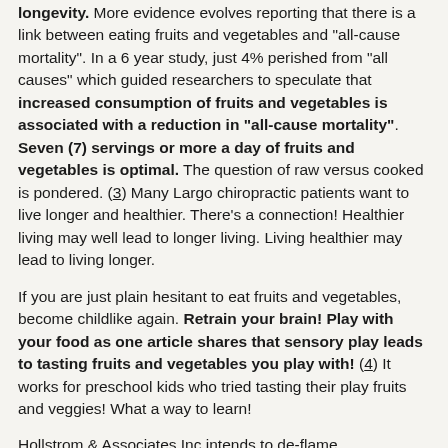longevity. More evidence evolves reporting that there is a link between eating fruits and vegetables and "all-cause mortality". In a 6 year study, just 4% perished from "all causes" which guided researchers to speculate that increased consumption of fruits and vegetables is associated with a reduction in "all-cause mortality".  Seven (7) servings or more a day of fruits and vegetables is optimal. The question of raw versus cooked is pondered. (3) Many Largo chiropractic patients want to live longer and healthier. There's a connection! Healthier living may well lead to longer living. Living healthier may lead to living longer.
If you are just plain hesitant to eat fruits and vegetables, become childlike again. Retrain your brain! Play with your food as one article shares that sensory play leads to tasting fruits and vegetables you play with! (4) It works for preschool kids who tried tasting their play fruits and veggies! What a way to learn!
Hollstrom & Associates Inc intends to de-flame inflammation. Our Largo chiropractic patients may well find their bodies, bones and lifespans all react positively. Inflammation holds you